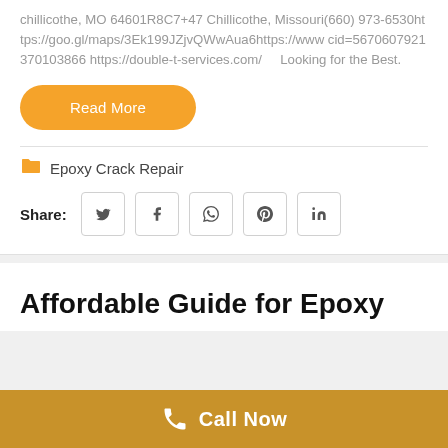chillicothe, MO 64601R8C7+47 Chillicothe, Missouri(660) 973-6530https://goo.gl/maps/3Ek199JZjvQWwAua6https://www cid=5670607921370103866 https://double-t-services.com/    Looking for the Best.
Read More
Epoxy Crack Repair
Share:
Affordable Guide for Epoxy
Call Now